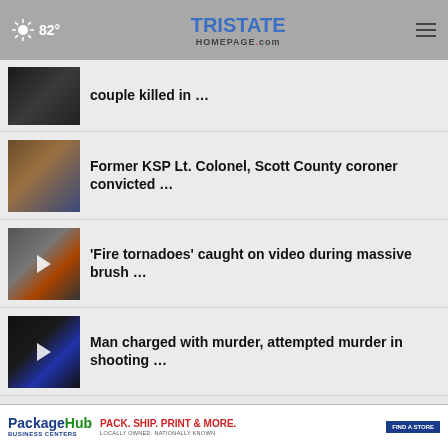82° | TristateHomepage.com
couple killed in …
Former KSP Lt. Colonel, Scott County coroner convicted …
'Fire tornadoes' caught on video during massive brush …
Man charged with murder, attempted murder in shooting …
More Stories ›
[Figure (screenshot): PackageHub advertisement banner — Pack. Ship. Print & More. Locally Owned, Nationally Known. Find a Store.]